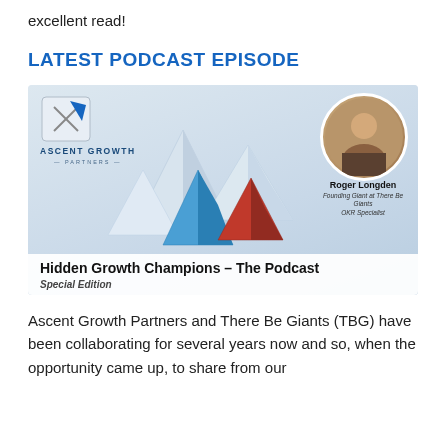excellent read!
LATEST PODCAST EPISODE
[Figure (illustration): Podcast episode promotional image showing paper boat origami figures (blue and red) with Ascent Growth Partners logo, a circular photo of Roger Longden, and text 'Hidden Growth Champions – The Podcast, Special Edition']
Ascent Growth Partners and There Be Giants (TBG) have been collaborating for several years now and so, when the opportunity came up, to share from our